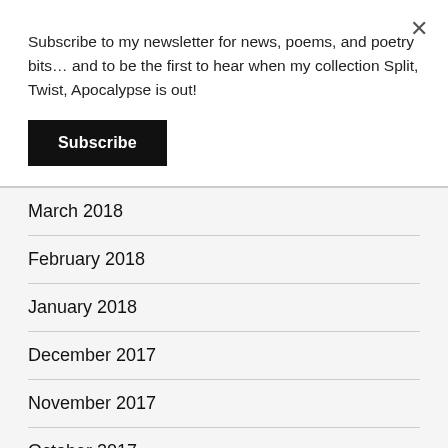Subscribe to my newsletter for news, poems, and poetry bits… and to be the first to hear when my collection Split, Twist, Apocalypse is out!
Subscribe
March 2018
February 2018
January 2018
December 2017
November 2017
October 2017